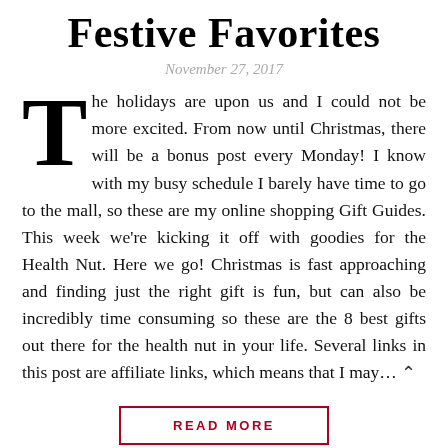Festive Favorites
November 27, 2017
The holidays are upon us and I could not be more excited. From now until Christmas, there will be a bonus post every Monday! I know with my busy schedule I barely have time to go to the mall, so these are my online shopping Gift Guides. This week we’re kicking it off with goodies for the Health Nut. Here we go! Christmas is fast approaching and finding just the right gift is fun, but can also be incredibly time consuming so these are the 8 best gifts out there for the health nut in your life. Several links in this post are affiliate links, which means that I may…
READ MORE